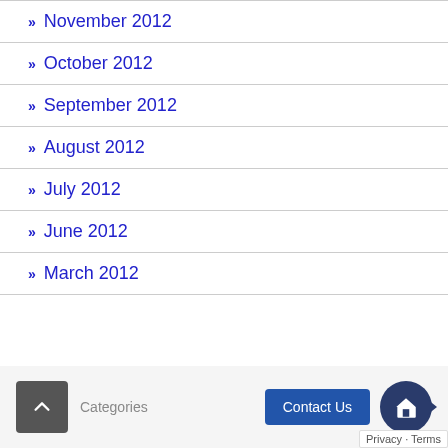November 2012
October 2012
September 2012
August 2012
July 2012
June 2012
March 2012
Categories  Contact Us  Privacy · Terms